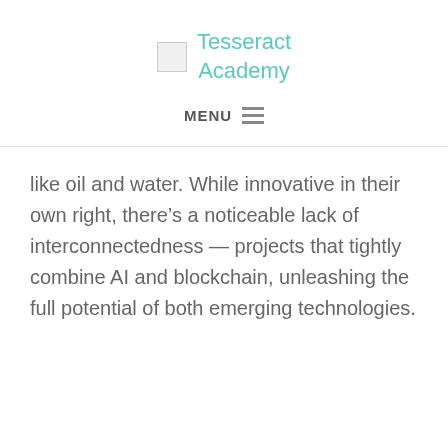Tesseract Academy
like oil and water. While innovative in their own right, there’s a noticeable lack of interconnectedness — projects that tightly combine AI and blockchain, unleashing the full potential of both emerging technologies.